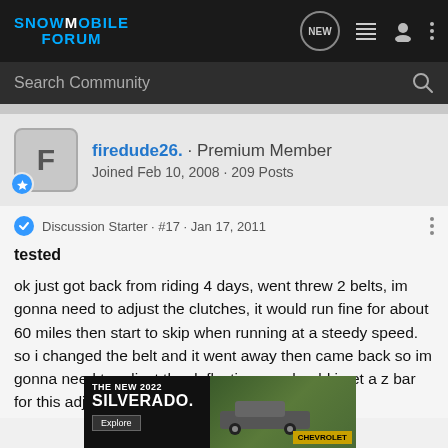SNOWMOBILE FORUM
Search Community
firedude26. · Premium Member
Joined Feb 10, 2008 · 209 Posts
Discussion Starter · #17 · Jan 17, 2011
tested
ok just got back from riding 4 days, went threw 2 belts, im gonna need to adjust the clutches, it would run fine for about 60 miles then start to skip when running at a steedy speed. so i changed the belt and it went away then came back so im gonna need to adjust the deflection. so should i get a z bar for this adjustm
[Figure (photo): Advertisement banner for The New 2022 Silverado by Chevrolet, showing truck in field with Explore button]